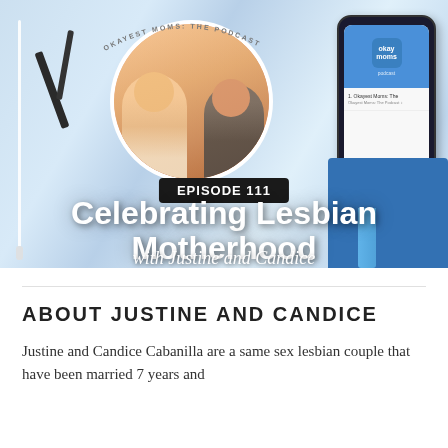[Figure (photo): Podcast cover image for 'Okayest Moms: The Podcast' Episode 111 featuring two women in a circular photo, a blue notebook, a smartphone showing a podcast app, and earphones on a marble background. Text overlays: 'EPISODE 111', 'Celebrating Lesbian Motherhood', 'with Justine and Candice']
ABOUT JUSTINE AND CANDICE
Justine and Candice Cabanilla are a same sex lesbian couple that have been married 7 years and